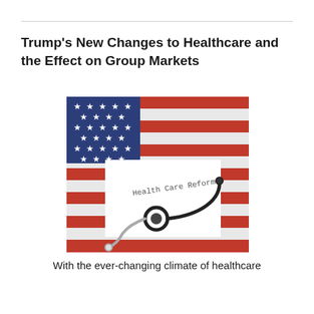Trump's New Changes to Healthcare and the Effect on Group Markets
[Figure (photo): A stethoscope resting on a document titled 'Health Care Reform', placed on top of an American flag.]
With the ever-changing climate of healthcare